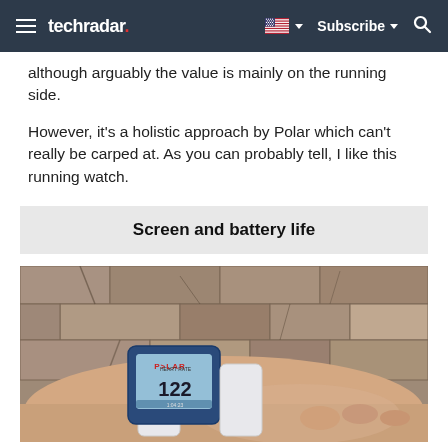techradar | Subscribe
although arguably the value is mainly on the running side.
However, it's a holistic approach by Polar which can't really be carped at. As you can probably tell, I like this running watch.
Screen and battery life
[Figure (photo): Close-up photo of a Polar running watch (showing heart rate 122) worn on a person's wrist, with a stone wall background.]